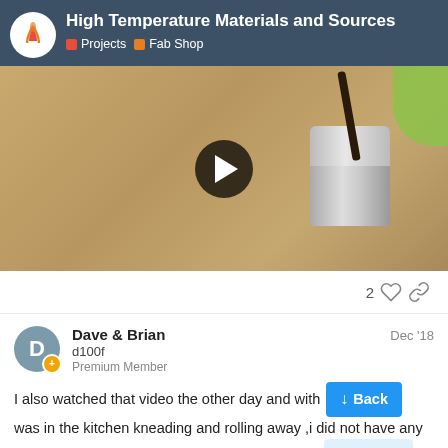High Temperature Materials and Sources — Projects / Fab Shop
[Figure (screenshot): Video thumbnail showing a metal can/container being stirred with a dark stick on a sandy/dusty surface, with a play button overlay in the center]
2 ♡ 🔗
Dave & Brian
d100f
Premium Member
Dec '18
I also watched that video the other day and with was in the kitchen kneading and rolling away ,i did not have any corn starch to hand so i used plain flour instead anything so i mixed a little water in to smoo